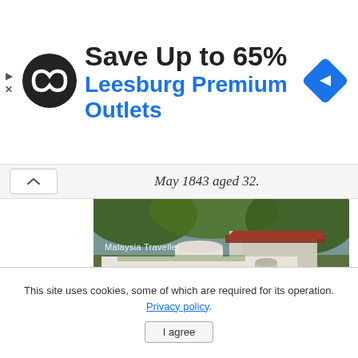[Figure (screenshot): Advertisement banner for Leesburg Premium Outlets with a circular black logo with white infinity-like symbol, blue navigation diamond icon on right, text 'Save Up to 65%' and 'Leesburg Premium Outlets' in blue]
May 1843 aged 32.
[Figure (photo): Photo of a white colonial-style tomb/grave monument with arched top in a tropical setting with trees and a white building in the background. Watermark reads 'Malaysia Traveller'. Caption reads 'Hubert van Bragt']
This site uses cookies, some of which are required for its operation. Privacy policy.